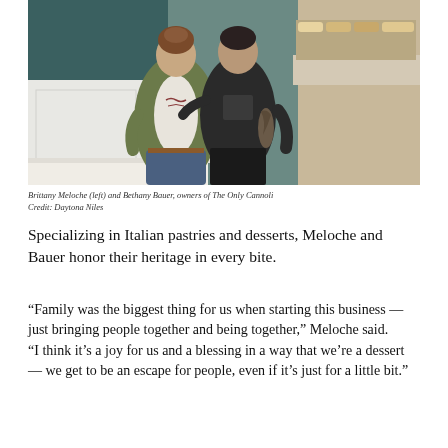[Figure (photo): Two women standing together behind a bakery counter. The woman on the left wears a green jacket over a graphic t-shirt with jeans. The woman on the right wears a black t-shirt with tattoos on her arm. Display cases with pastries are visible in the background.]
Brittany Meloche (left) and Bethany Bauer, owners of The Only Cannoli
Credit: Daytona Niles
Specializing in Italian pastries and desserts, Meloche and Bauer honor their heritage in every bite.
“Family was the biggest thing for us when starting this business — just bringing people together and being together,” Meloche said.
“I think it’s a joy for us and a blessing in a way that we’re a dessert — we get to be an escape for people, even if it’s just for a little bit.”